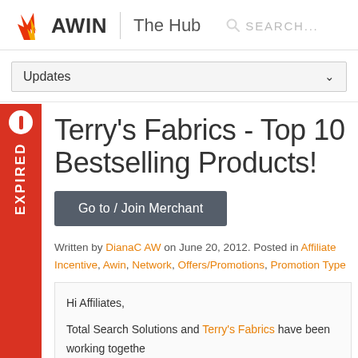AWIN | The Hub  SEARCH...
Updates
Terry's Fabrics - Top 10 Bestselling Products!
Go to / Join Merchant
Written by DianaC AW on June 20, 2012. Posted in Affiliate Incentive, Awin, Network, Offers/Promotions, Promotion Type
Hi Affiliates,
Total Search Solutions and Terry's Fabrics have been working togethe